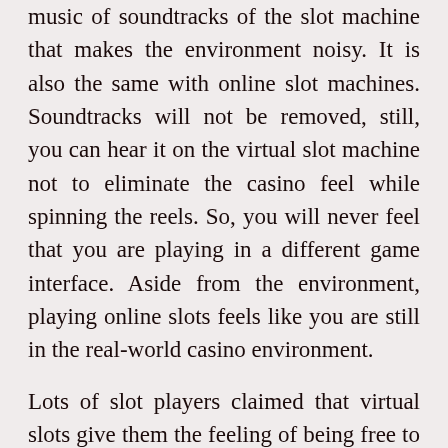music of soundtracks of the slot machine that makes the environment noisy. It is also the same with online slot machines. Soundtracks will not be removed, still, you can hear it on the virtual slot machine not to eliminate the casino feel while spinning the reels. So, you will never feel that you are playing in a different game interface. Aside from the environment, playing online slots feels like you are still in the real-world casino environment.
Lots of slot players claimed that virtual slots give them the feeling of being free to spin the reels many times at any time of the day.
MARCH 7, 2021 - 14:16   OWEN   GAMBLING